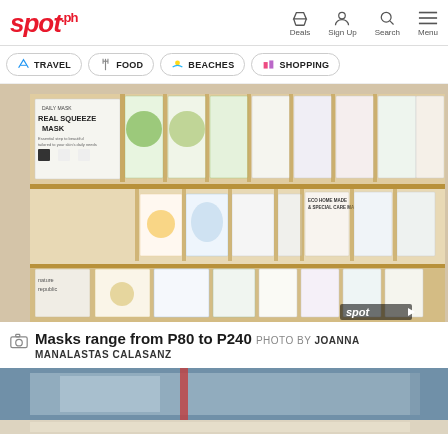spot.ph — Deals, Sign Up, Search, Menu
TRAVEL | FOOD | BEACHES | SHOPPING
[Figure (photo): Store shelf displaying rows of face mask packets in a wooden display stand. Masks include products like 'Real Squeeze Mask'. Various illustrated face mask packaging visible on multiple tiered shelves. Spot.ph watermark in bottom right corner.]
Masks range from P80 to P240 PHOTO BY JOANNA MANALASTAS CALASANZ